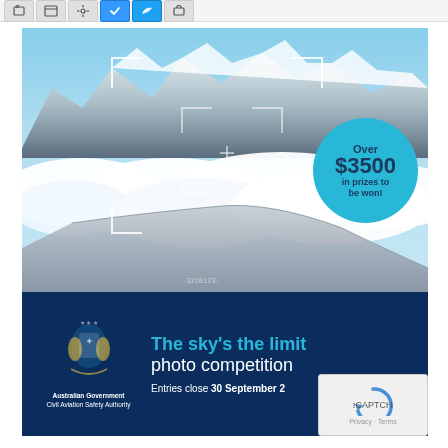[Figure (screenshot): Browser toolbar with icons at the top of the page]
[Figure (photo): Advertisement for the Australian Government Civil Aviation Safety Authority 'The sky's the limit photo competition'. Top half shows an aerial photograph of snow-capped mountains above clouds with an airplane wing visible, featuring camera focus brackets overlay and a teal circle badge reading 'Over $3500 in prizes to be won!'. Bottom dark blue banner shows the Australian Government crest logo, CASA branding, competition title in teal and white text, and text 'Entries close 30 September 2[0...]'. A reCAPTCHA widget appears in the bottom right corner.]